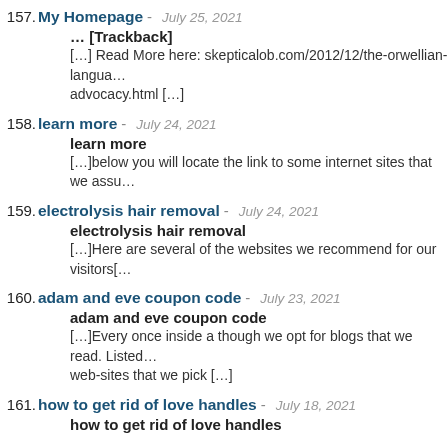157. My Homepage - July 25, 2021 | … [Trackback] | […] Read More here: skepticalob.com/2012/12/the-orwellian-langua… advocacy.html […]
158. learn more - July 24, 2021 | learn more | […]below you will locate the link to some internet sites that we assu…
159. electrolysis hair removal - July 24, 2021 | electrolysis hair removal | […]Here are several of the websites we recommend for our visitors[…
160. adam and eve coupon code - July 23, 2021 | adam and eve coupon code | […]Every once inside a though we opt for blogs that we read. Listed… web-sites that we pick […]
161. how to get rid of love handles - July 18, 2021 | how to get rid of love handles